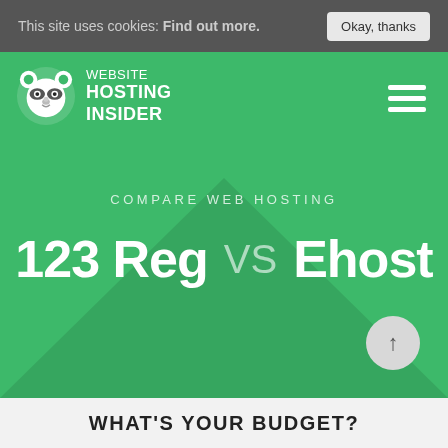This site uses cookies: Find out more. Okay, thanks
[Figure (logo): Website Hosting Insider raccoon logo with text WEBSITE HOSTING INSIDER]
COMPARE WEB HOSTING
123 Reg VS Ehost
WHAT'S YOUR BUDGET?